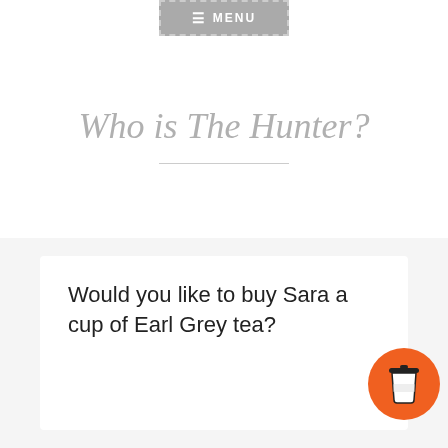≡ MENU
Who is The Hunter?
March 3, 2020 · Sara Martin
Would you like to buy Sara a cup of Earl Grey tea?